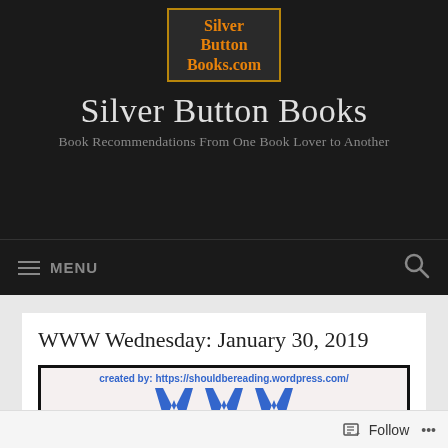[Figure (logo): Silver Button Books logo: orange text on dark background with gold border]
Silver Button Books
Book Recommendations From One Book Lover to Another
≡ MENU
WWW Wednesday: January 30, 2019
[Figure (infographic): WWW Wednesday meme image created by shouldbereading.wordpress.com showing three blue W letters]
Follow